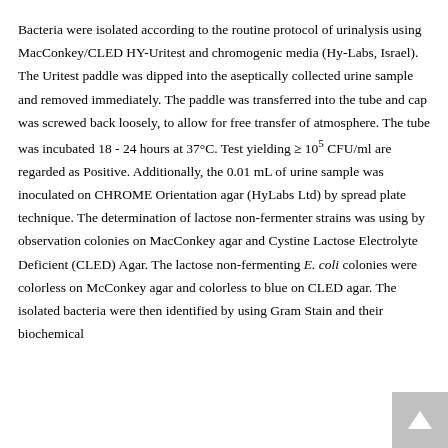Bacteria were isolated according to the routine protocol of urinalysis using MacConkey/CLED HY-Uritest and chromogenic media (Hy-Labs, Israel). The Uritest paddle was dipped into the aseptically collected urine sample and removed immediately. The paddle was transferred into the tube and cap was screwed back loosely, to allow for free transfer of atmosphere. The tube was incubated 18 - 24 hours at 37°C. Test yielding ≥ 10⁵ CFU/ml are regarded as Positive. Additionally, the 0.01 mL of urine sample was inoculated on CHROME Orientation agar (HyLabs Ltd) by spread plate technique. The determination of lactose non-fermenter strains was using by observation colonies on MacConkey agar and Cystine Lactose Electrolyte Deficient (CLED) Agar. The lactose non-fermenting E. coli colonies were colorless on McConkey agar and colorless to blue on CLED agar. The isolated bacteria were then identified by using Gram Stain and their biochemical